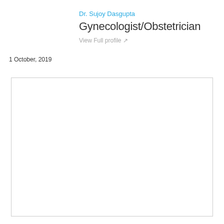Dr. Sujoy Dasgupta
Gynecologist/Obstetrician
View Full profile ↗
1 October, 2019
[Figure (other): Empty bordered content box / document area]